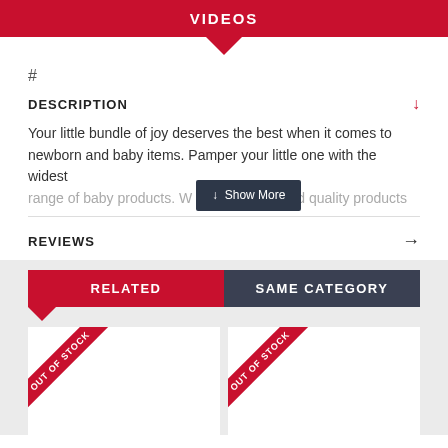VIDEOS
#
DESCRIPTION
Your little bundle of joy deserves the best when it comes to newborn and baby items. Pamper your little one with the widest range of baby products. W and quality products
REVIEWS
RELATED
SAME CATEGORY
[Figure (other): Two product cards with OUT OF STOCK diagonal red ribbon banners]
Show More